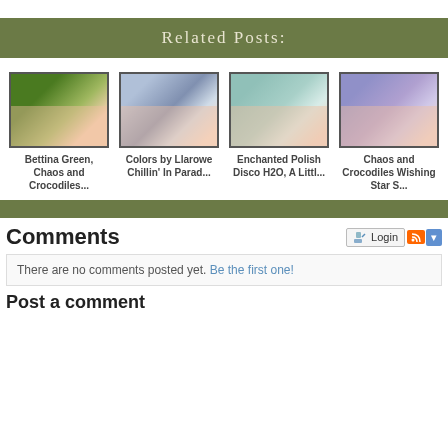Related Posts:
[Figure (photo): Nail polish photo - green nails with bottle]
[Figure (photo): Nail polish photo - blue/silver glitter nails with bottle]
[Figure (photo): Nail polish photo - teal/aqua nails with bottle]
[Figure (photo): Nail polish photo - purple/lavender nails with bottle]
Bettina Green, Chaos and Crocodiles...
Colors by Llarowe Chillin' In Parad...
Enchanted Polish Disco H2O, A Littl...
Chaos and Crocodiles Wishing Star S...
Comments
There are no comments posted yet. Be the first one!
Post a comment